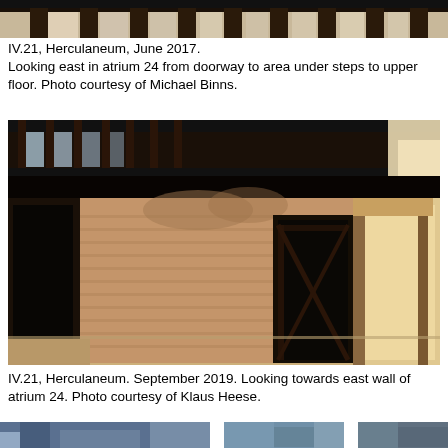[Figure (photo): Partial top of a photo showing interior of ancient Roman building at Herculaneum, cropped at top of page]
IV.21, Herculaneum, June 2017. Looking east in atrium 24 from doorway to area under steps to upper floor. Photo courtesy of Michael Binns.
[Figure (photo): Interior photograph of atrium 24 at IV.21 Herculaneum, September 2019, showing east wall with ancient Roman brick construction, wooden beams and latticed upper floor structure, doorways, and sandy floor.]
IV.21, Herculaneum. September 2019. Looking towards east wall of atrium 24. Photo courtesy of Klaus Heese.
[Figure (photo): Bottom strip showing partial cropped photographs of Herculaneum site, three images side by side, partially visible at bottom of page]